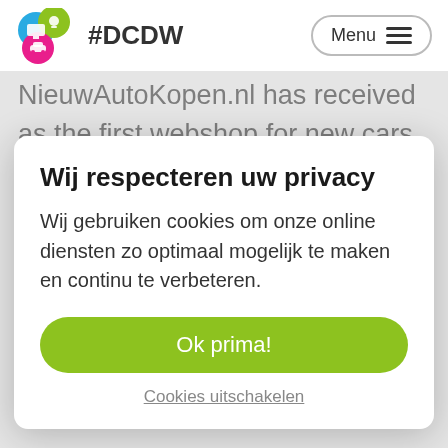#DCDW  Menu
NieuwAutoKopen.nl has received as the first webshop for new cars in 2006, is the right next step
Wij respecteren uw privacy
Wij gebruiken cookies om onze online diensten zo optimaal mogelijk te maken en continu te verbeteren.
Ok prima!
Cookies uitschakelen
by dealers and importers frequently asked speaker in the online automotive industry. Paul is the